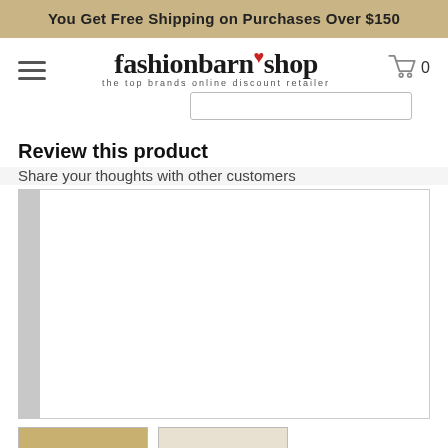You Get Free Shipping on Purchases Over $150
[Figure (logo): fashionbarn shop logo with tagline 'the top brands online discount retailer']
Review this product
Share your thoughts with other customers
[Figure (screenshot): White review input box area, partially visible product images at bottom]